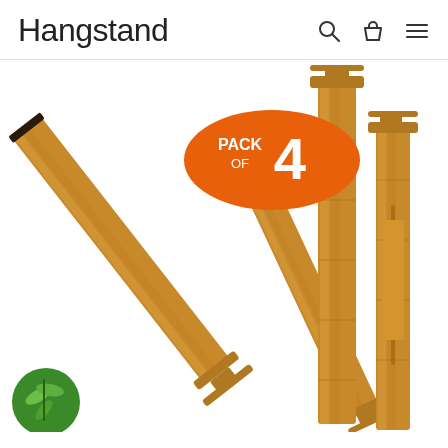Hangstand
[Figure (photo): Product photo showing bamboo drawer dividers (pack of 4). Two dividers shown diagonally on the left, two shown upright on the right. An orange oval badge reading PACK OF 4 is overlaid in the center-top area. A green bamboo leaf circular badge is at the bottom left.]